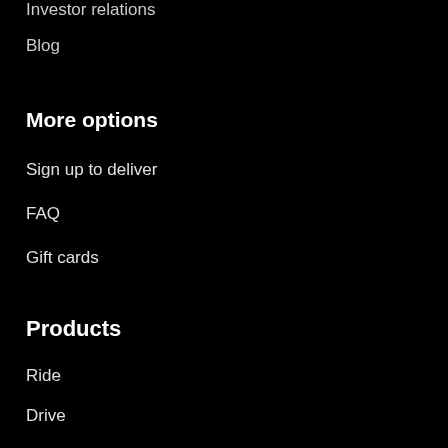Investor relations
Blog
More options
Sign up to deliver
FAQ
Gift cards
Products
Ride
Drive
Uber for Business
Eat